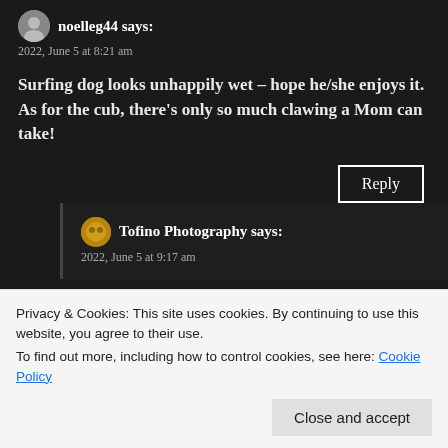noelleg44 says:
2022, June 5 at 8:21 am
Surfing dog looks unhappily wet – hope he/she enjoys it. As for the cub, there's only so much clawing a Mom can take!
Reply
Tofino Photography says:
2022, June 5 at 9:17 am
Privacy & Cookies: This site uses cookies. By continuing to use this website, you agree to their use.
To find out more, including how to control cookies, see here: Cookie Policy
Close and accept